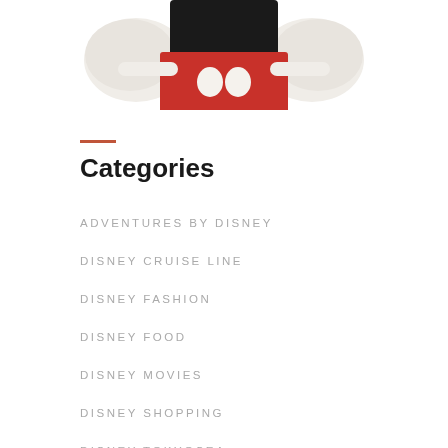[Figure (photo): Bottom portion of a Mickey Mouse plush toy showing red shorts with white dots, black top, and white gloved hands against a white background]
Categories
ADVENTURES BY DISNEY
DISNEY CRUISE LINE
DISNEY FASHION
DISNEY FOOD
DISNEY MOVIES
DISNEY SHOPPING
DISNEY TOKYOSEA
DISNEY WORLD
AMANDA PLANS DISNEY
ANIMAL KINGDOM